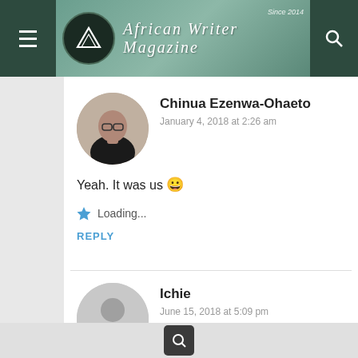African Writer Magazine — Since 2014
Chinua Ezenwa-Ohaeto
January 4, 2018 at 2:26 am
Yeah. It was us 😀
Loading...
REPLY
Ichie
June 15, 2018 at 5:09 pm
I felt nostalgia because it seems you wrote